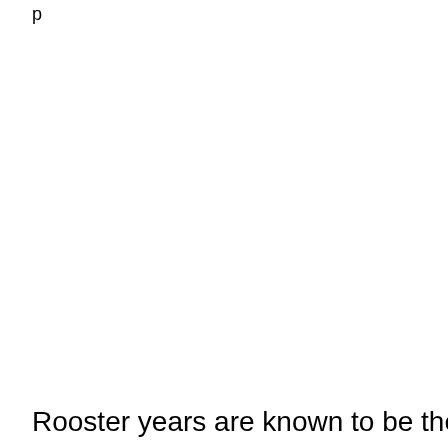p
Rooster years are known to be the years of “big